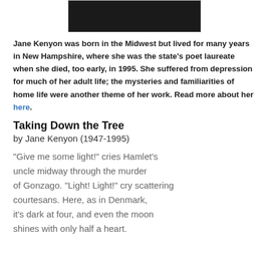[Figure (photo): Black and white photo of Jane Kenyon, partially visible at top of page]
Jane Kenyon was born in the Midwest but lived for many years in New Hampshire, where she was the state's poet laureate when she died, too early, in 1995. She suffered from depression for much of her adult life; the mysteries and familiarities of home life were another theme of her work. Read more about her here.
Taking Down the Tree
by Jane Kenyon (1947-1995)
"Give me some light!" cries Hamlet's uncle midway through the murder of Gonzago. "Light! Light!" cry scattering courtesans. Here, as in Denmark, it's dark at four, and even the moon shines with only half a heart.